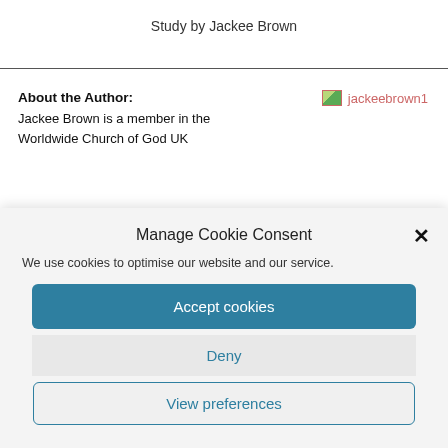Study by Jackee Brown
About the Author:
Jackee Brown is a member in the Worldwide Church of God UK
[Figure (photo): Placeholder image labeled jackeebrown1]
Manage Cookie Consent
We use cookies to optimise our website and our service.
Accept cookies
Deny
View preferences